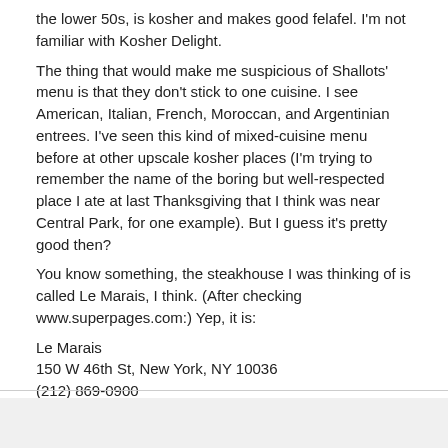the lower 50s, is kosher and makes good felafel. I'm not familiar with Kosher Delight.
The thing that would make me suspicious of Shallots' menu is that they don't stick to one cuisine. I see American, Italian, French, Moroccan, and Argentinian entrees. I've seen this kind of mixed-cuisine menu before at other upscale kosher places (I'm trying to remember the name of the boring but well-respected place I ate at last Thanksgiving that I think was near Central Park, for one example). But I guess it's pretty good then?
You know something, the steakhouse I was thinking of is called Le Marais, I think. (After checking www.superpages.com:) Yep, it is:
Le Marais
150 W 46th St, New York, NY 10036
(212) 869-0900
(212) 869-1016 (fax)
Tevere is or was a very expensive kosher Italian restaurant on the Upper East Side, and I never went there.
bloviatrix